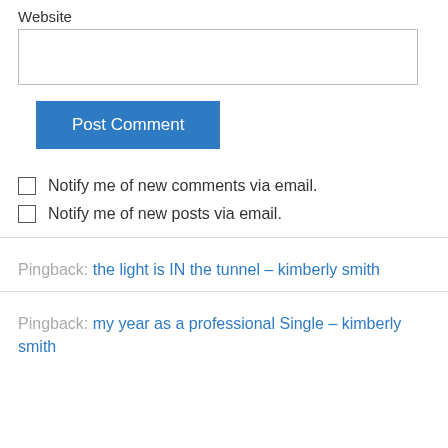Website
Post Comment
Notify me of new comments via email.
Notify me of new posts via email.
Pingback: the light is IN the tunnel – kimberly smith
Pingback: my year as a professional Single – kimberly smith